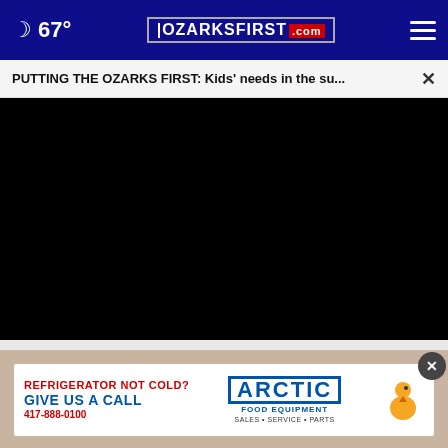🌙 67° | OZARKSFIRST.com
PUTTING THE OZARKS FIRST: Kids' needs in the su... ×
[Figure (screenshot): Black video player area]
[Figure (photo): Background photo with blurred person]
REFRIGERATOR NOT COLD? GIVE US A CALL 417-888-0100 | ARCTIC FOOD EQUIPMENT SALES • SERVICE • PARTS